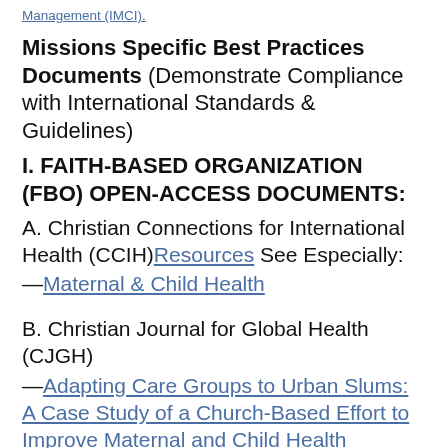Management (IMCI).
Missions Specific Best Practices Documents (Demonstrate Compliance with International Standards & Guidelines)
I. FAITH-BASED ORGANIZATION (FBO) OPEN-ACCESS DOCUMENTS:
A. Christian Connections for International Health (CCIH) Resources See Especially:
—Maternal & Child Health
B. Christian Journal for Global Health (CJGH)
—Adapting Care Groups to Urban Slums: A Case Study of a Church-Based Effort to Improve Maternal and Child Health Outcomes in Mathare, Nairobi, Kenya